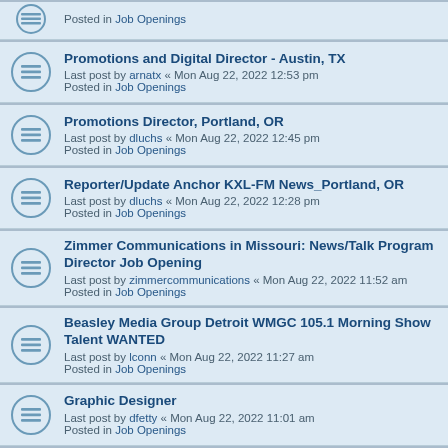Posted in Job Openings
Promotions and Digital Director - Austin, TX
Last post by arnatx « Mon Aug 22, 2022 12:53 pm
Posted in Job Openings
Promotions Director, Portland, OR
Last post by dluchs « Mon Aug 22, 2022 12:45 pm
Posted in Job Openings
Reporter/Update Anchor KXL-FM News_Portland, OR
Last post by dluchs « Mon Aug 22, 2022 12:28 pm
Posted in Job Openings
Zimmer Communications in Missouri: News/Talk Program Director Job Opening
Last post by zimmercommunications « Mon Aug 22, 2022 11:52 am
Posted in Job Openings
Beasley Media Group Detroit WMGC 105.1 Morning Show Talent WANTED
Last post by lconn « Mon Aug 22, 2022 11:27 am
Posted in Job Openings
Graphic Designer
Last post by dfetty « Mon Aug 22, 2022 11:01 am
Posted in Job Openings
News Anchor/Reporter WFMD
Last post by suedischel « Mon Aug 22, 2022 10:04 am
Posted in Job Openings